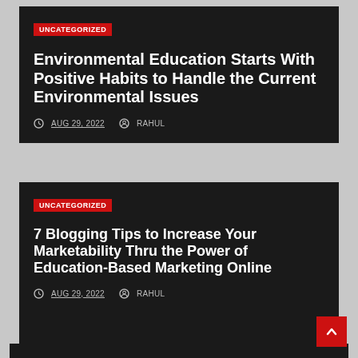UNCATEGORIZED
Environmental Education Starts With Positive Habits to Handle the Current Environmental Issues
AUG 29, 2022  RAHUL
UNCATEGORIZED
7 Blogging Tips to Increase Your Marketability Thru the Power of Education-Based Marketing Online
AUG 29, 2022  RAHUL